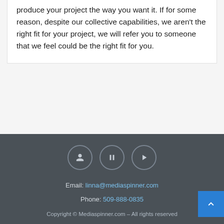produce your project the way you want it. If for some reason, despite our collective capabilities, we aren't the right fit for your project, we will refer you to someone that we feel could be the right fit for you.
[Figure (other): Three circular social media icon buttons with dark background]
Email: linna@mediaspinner.com
Phone: 509-888-0835
Copyright © Mediaspinner.com – All rights reserved